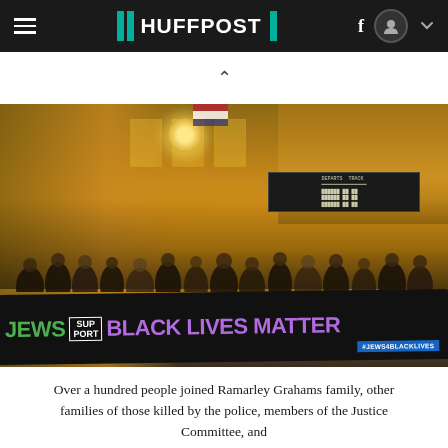HUFFPOST
[Figure (photo): Protest at Grand Central Terminal. A large crowd holds a banner reading 'JEWS SUPPORT BLACK LIVES MATTER' with hashtag #JEWS4BLACKLIVES. The warm golden interior of Grand Central Terminal is visible in the background with chandeliers and departure boards.]
Over a hundred people joined Ramarley Grahams family, other families of those killed by the police, members of the Justice Committee, and